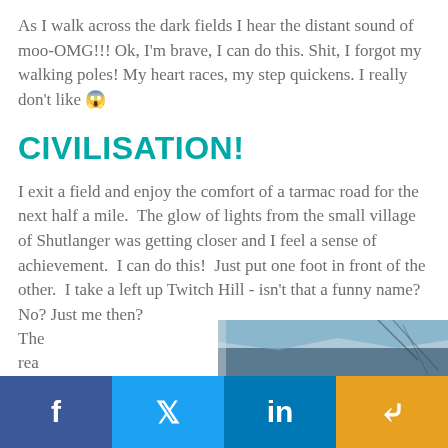As I walk across the dark fields I hear the distant sound of moo-OMG!!! Ok, I'm brave, I can do this. Shit, I forgot my walking poles! My heart races, my step quickens. I really don't like 😱
CIVILISATION!
I exit a field and enjoy the comfort of a tarmac road for the next half a mile.  The glow of lights from the small village of Shutlanger was getting closer and I feel a sense of achievement.  I can do this!  Just put one foot in front of the other.  I take a left up Twitch Hill - isn't that a funny name? No? Just me then?
The rea
[Figure (photo): Partial photo visible at bottom right of page, appears to show a dark outdoor/nature scene with sky and branches]
f  🐦  in  share